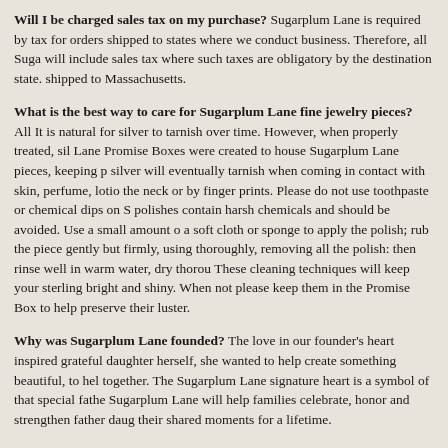Will I be charged sales tax on my purchase? Sugarplum Lane is required by tax for orders shipped to states where we conduct business. Therefore, all Suga will include sales tax where such taxes are obligatory by the destination state. shipped to Massachusetts.
What is the best way to care for Sugarplum Lane fine jewelry pieces? All It is natural for silver to tarnish over time. However, when properly treated, sil Lane Promise Boxes were created to house Sugarplum Lane pieces, keeping p silver will eventually tarnish when coming in contact with skin, perfume, lotio the neck or by finger prints. Please do not use toothpaste or chemical dips on S polishes contain harsh chemicals and should be avoided. Use a small amount o a soft cloth or sponge to apply the polish; rub the piece gently but firmly, using thoroughly, removing all the polish: then rinse well in warm water, dry thorou These cleaning techniques will keep your sterling bright and shiny. When not please keep them in the Promise Box to help preserve their luster.
Why was Sugarplum Lane founded? The love in our founder's heart inspired grateful daughter herself, she wanted to help create something beautiful, to hel together. The Sugarplum Lane signature heart is a symbol of that special fathe Sugarplum Lane will help families celebrate, honor and strengthen father daug their shared moments for a lifetime.